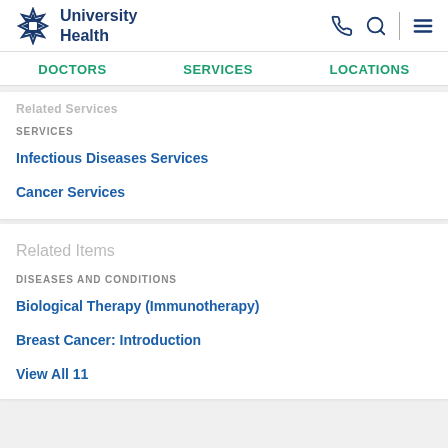University Health
DOCTORS  SERVICES  LOCATIONS
Related Services
SERVICES
Infectious Diseases Services
Cancer Services
Related Items
DISEASES AND CONDITIONS
Biological Therapy (Immunotherapy)
Breast Cancer: Introduction
View All 11